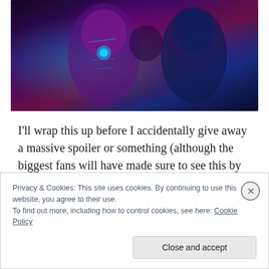[Figure (photo): Dark sci-fi/superhero movie scene showing armored characters including Iron Man (purple/red suit with cyan arc reactor) and other figures in dark blue lighting]
I'll wrap this up before I accidentally give away a massive spoiler or something (although the biggest fans will have made sure to see this by now, I hope!). It was hard to avoid spoilers for this one and I'm glad I managed to for two whole days as I think it made me appreciate this film even more. I've not mentioned all the characters but that
Privacy & Cookies: This site uses cookies. By continuing to use this website, you agree to their use.
To find out more, including how to control cookies, see here: Cookie Policy
Close and accept